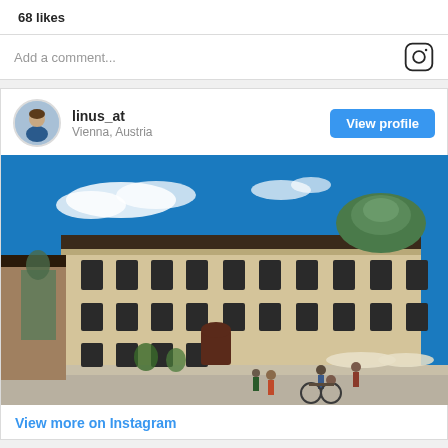68 likes
Add a comment...
linus_at
Vienna, Austria
View profile
[Figure (photo): Exterior view of Hofburg Palace in Vienna, Austria under a bright blue sky with scattered clouds. A large Baroque facade with many windows and ornate decoration is visible. People and cyclists are in the foreground plaza. A green dome and bronze statue are also visible.]
View more on Instagram